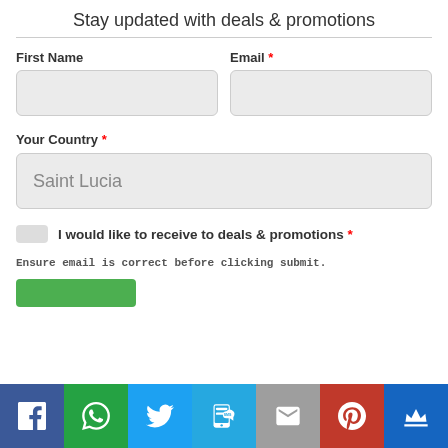Stay updated with deals & promotions
First Name
Email *
Your Country *
Saint Lucia
I would like to receive to deals & promotions *
Ensure email is correct before clicking submit.
[Figure (other): Social sharing bar with Facebook, WhatsApp, Twitter, SMS, Email, Pinterest, and Crown icon buttons]